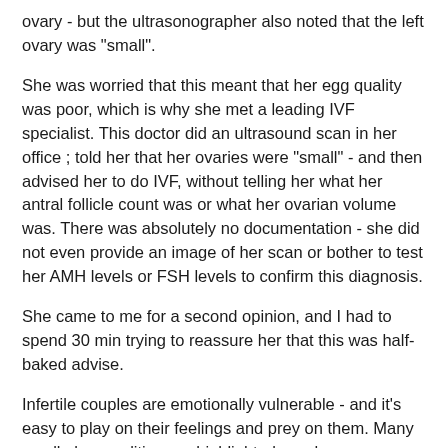ovary - but the ultrasonographer also noted that the left ovary was "small".
She was worried that this meant that her egg quality was poor, which is why she met a leading IVF specialist. This doctor did an ultrasound scan in her office ; told her that her ovaries were "small" - and then advised her to do IVF, without telling her what her antral follicle count was or what her ovarian volume was. There was absolutely no documentation - she did not even provide an image of her scan or bother to test her AMH levels or FSH levels to confirm this diagnosis.
She came to me for a second opinion, and I had to spend 30 min trying to reassure her that this was half-baked advise.
Infertile couples are emotionally vulnerable - and it's easy to play on their feelings and prey on them. Many small abnormalities are highlighted - and simple anatomic variants of no clinical importance are treated as "diseases" which need to be treated !